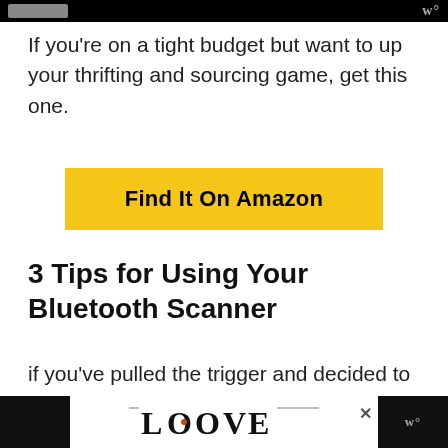If you’re on a tight budget but want to up your thrifting and sourcing game, get this one.
[Figure (other): Yellow button labeled 'Find It On Amazon']
3 Tips for Using Your Bluetooth Scanner
if you’ve pulled the trigger and decided to take the next step in your business, there are a few things you
[Figure (other): Bottom advertisement banner with LOOVE logo and navigation elements]